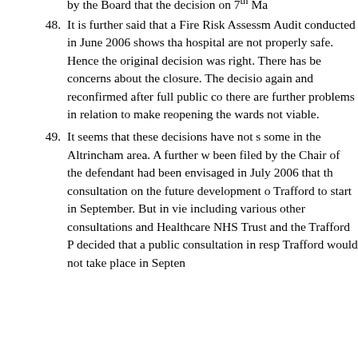by the Board that the decision on 7th Ma...
48. It is further said that a Fire Risk Assessment Audit conducted in June 2006 shows that hospital are not properly safe. Hence the original decision was right. There has been concerns about the closure. The decision again and reconfirmed after full public co there are further problems in relation to make reopening the wards not viable.
49. It seems that these decisions have not s some in the Altrincham area. A further w been filed by the Chair of the defendant had been envisaged in July 2006 that th consultation on the future development o Trafford to start in September. But in vie including various other consultations an Healthcare NHS Trust and the Trafford decided that a public consultation in res Trafford would not take place in Septem...